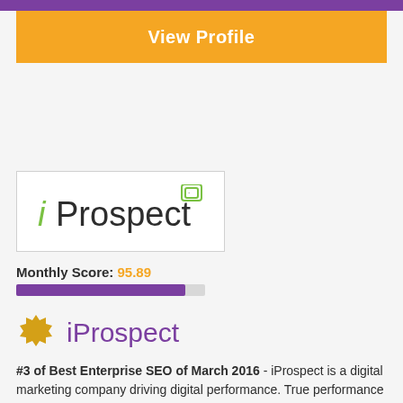View Profile
[Figure (logo): iProspect company logo with green stylized 'i' and green IP icon superscript]
Monthly Score: 95.89
[Figure (other): Purple progress bar showing score approximately 95.89 out of 100]
iProspect
#3 of Best Enterprise SEO of March 2016 - iProspect is a digital marketing company driving digital performance. True performance happens when brands successfully present meaningful solutions to a